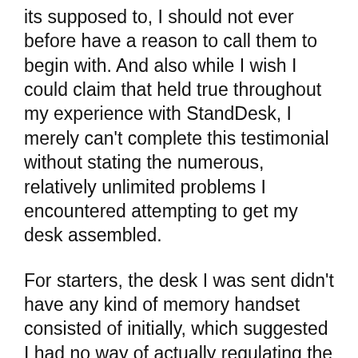its supposed to, I should not ever before have a reason to call them to begin with. And also while I wish I could claim that held true throughout my experience with StandDesk, I merely can't complete this testimonial without stating the numerous, relatively unlimited problems I encountered attempting to get my desk assembled.
For starters, the desk I was sent didn't have any kind of memory handset consisted of initially, which suggested I had no way of actually regulating the up/down feature on the desk itself. I contacted StandDesk regarding this problem, that got back to me around a day later with an apology and also a pledge that a brand-new one would be shipped shortly.